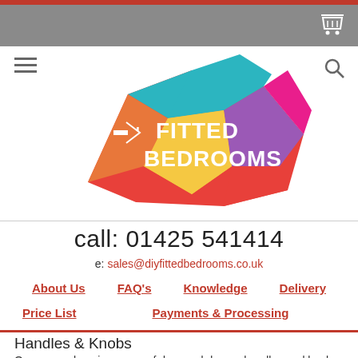[Figure (logo): DIY Fitted Bedrooms colorful geometric logo with text]
call: 01425 541414
e: sales@diyfittedbedrooms.co.uk
About Us
FAQ's
Knowledge
Delivery
Price List
Payments & Processing
Handles & Knobs
Our comprehensive range of door and drawer handles and knobs to compliment your fitted bedroom furniture. Please note all prices